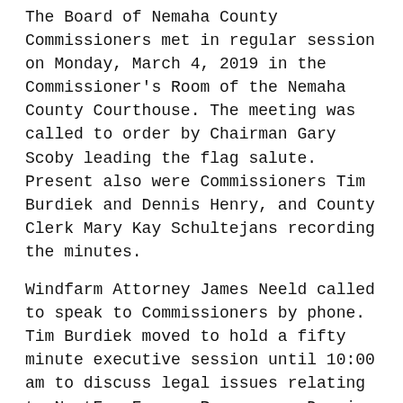The Board of Nemaha County Commissioners met in regular session on Monday, March 4, 2019 in the Commissioner's Room of the Nemaha County Courthouse. The meeting was called to order by Chairman Gary Scoby leading the flag salute. Present also were Commissioners Tim Burdiek and Dennis Henry, and County Clerk Mary Kay Schultejans recording the minutes.
Windfarm Attorney James Neeld called to speak to Commissioners by phone. Tim Burdiek moved to hold a fifty minute executive session until 10:00 am to discuss legal issues relating to NextEra Energy Resources. Dennis Henry seconded the motion. The motion carried with all voting aye. Present for the executive session was the Board of Commissioners, Attorney James Neeld by phone, and County Attorney Brad Lippert by phone. The meeting returned to open session at 10:00 am with no action taken by the board following the